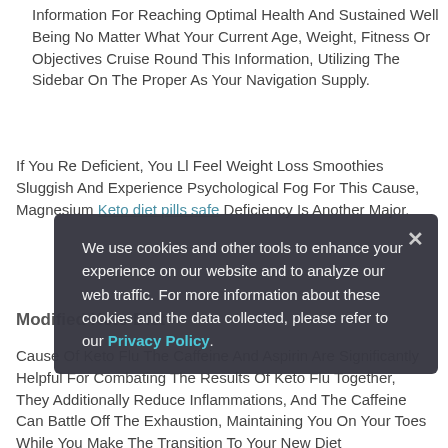Information For Reaching Optimal Health And Sustained Well Being No Matter What Your Current Age, Weight, Fitness Or Objectives Cruise Round This Information, Utilizing The Sidebar On The Proper As Your Navigation Supply.
If You Re Deficient, You Ll Feel Weight Loss Smoothies Sluggish And Experience Psychological Fog For This Cause, Magnesium Keto diet pills safe Deficiency Is Another Major.
Modified Keto Diet
Cause Of Keto Flu The Caffeine And Aspirin Are Significantly Helpful For Combating The Results Of Keto Flu Together, They Additionally Reduce Inflammations, And The Caffeine Can Battle Off The Exhaustion, Maintaining You On Your Toes While You Make The Transition To Your New Diet
We use cookies and other tools to enhance your experience on our website and to analyze our web traffic. For more information about these cookies and the data collected, please refer to our Privacy Policy.